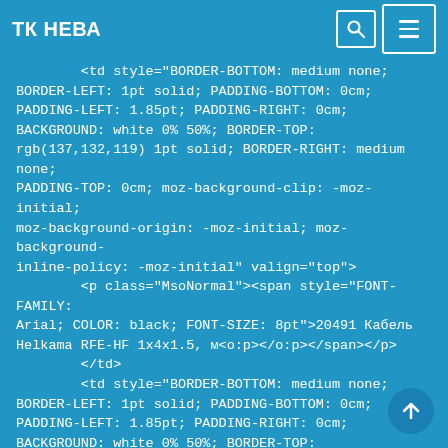ТК НЕВА
<td style="BORDER-BOTTOM: medium none; BORDER-LEFT: 1pt solid; PADDING-BOTTOM: 0cm; PADDING-LEFT: 1.85pt; PADDING-RIGHT: 0cm; BACKGROUND: white 0% 50%; BORDER-TOP: rgb(137,132,119) 1pt solid; BORDER-RIGHT: medium none; PADDING-TOP: 0cm; moz-background-clip: -moz-initial; moz-background-origin: -moz-initial; moz-background-inline-policy: -moz-initial" valign="top">
            <p class="MsoNormal"><span style="FONT-FAMILY: Arial; COLOR: black; FONT-SIZE: 8pt">20491 Кабель Helkama RFE-HF 1x4x1.5, м<o:p></o:p></span></p>
            </td>
            <td style="BORDER-BOTTOM: medium none; BORDER-LEFT: 1pt solid; PADDING-BOTTOM: 0cm; PADDING-LEFT: 1.85pt; PADDING-RIGHT: 0cm; BACKGROUND: white 0% 50%; BORDER-TOP: